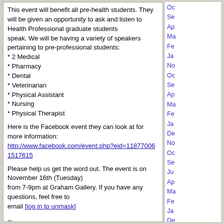This event will benefit all pre-health students. They will be given an opportunity to ask and listen to Health Professional graduate students speak. We will be having a variety of speakers pertaining to pre-professional students:
* 2 Medical
* Pharmacy
* Dental
* Veterinarian
* Physical Assistant
* Nursing
* Physical Therapist
Here is the Facebook event they can look at for more information: http://www.facebook.com/event.php?eid=118770061517615
Please help us get the word out. The event is on November 16th (Tuesday) from 7-9pm at Graham Gallery. If you have any questions, feel free to email [log in to unmask]
--
Andres E. Morales IV
2010-2011 HOSA at UF President
Top of Message | Previous Page | Permalink